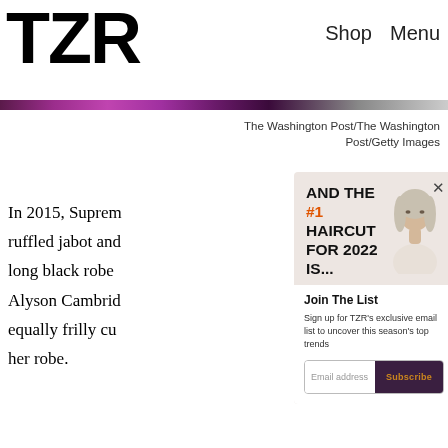TZR   Shop   Menu
The Washington Post/The Washington Post/Getty Images
In 2015, Suprem ruffled jabot and long black robe Alyson Cambrid equally frilly cu: her robe.
[Figure (screenshot): Advertisement overlay showing 'AND THE #1 HAIRCUT FOR 2022 IS...' with a photo of a blonde woman, a 'Join The List' signup section for TZR's exclusive email list, email input field, and Subscribe button]
Join The List
Sign up for TZR's exclusive email list to uncover this season's top trends